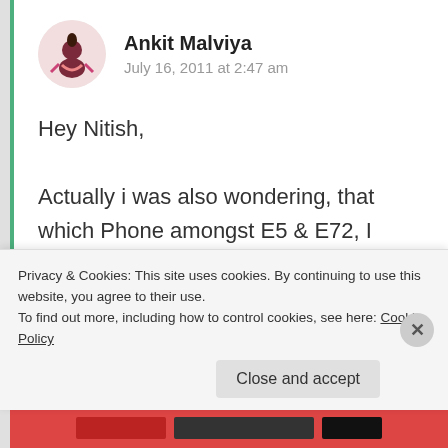[Figure (illustration): Avatar image of Ankit Malviya — a cartoon character illustration on a pinkish circular background]
Ankit Malviya
July 16, 2011 at 2:47 am
Hey Nitish,

Actually i was also wondering, that which Phone amongst E5 & E72, I should go for. Personally, i am in
Privacy & Cookies: This site uses cookies. By continuing to use this website, you agree to their use.
To find out more, including how to control cookies, see here: Cookie Policy
Close and accept